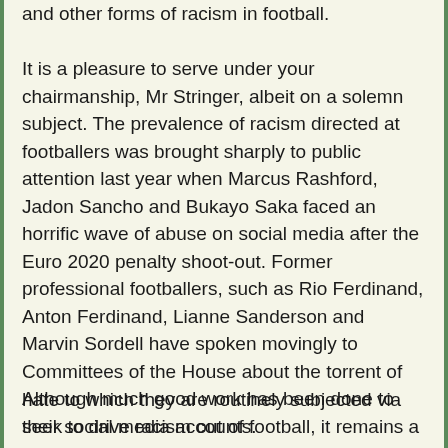and other forms of racism in football.
It is a pleasure to serve under your chairmanship, Mr Stringer, albeit on a solemn subject. The prevalence of racism directed at footballers was brought sharply to public attention last year when Marcus Rashford, Jadon Sancho and Bukayo Saka faced an horrific wave of abuse on social media after the Euro 2020 penalty shoot-out. Former professional footballers, such as Rio Ferdinand, Anton Ferdinand, Lianne Sanderson and Marvin Sordell have spoken movingly to Committees of the House about the torrent of hate to which they are routinely subjected via their social media accounts.
Although much good work has been done to seek to drive racism out of football, it remains a